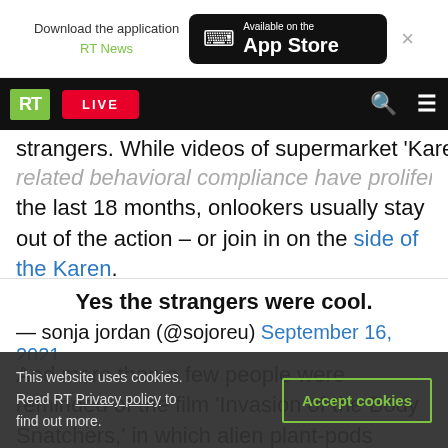Download the application RT News — Available on the App Store
RT LIVE
strangers. While videos of supermarket 'Karens'
related behavioral compliance have proliferated in the last 18 months, onlookers usually stay out of the action – or join in on the side of the Karen.
Yes the strangers were cool.
— sonja jordan (@sojoreu) September 16, 2021
And more than a few people were reminded of the film 'Invasion of the Body Snatchers,' in which alien plant-pods sneakily replace ordinary people with
This website uses cookies. Read RT Privacy policy to find out more.